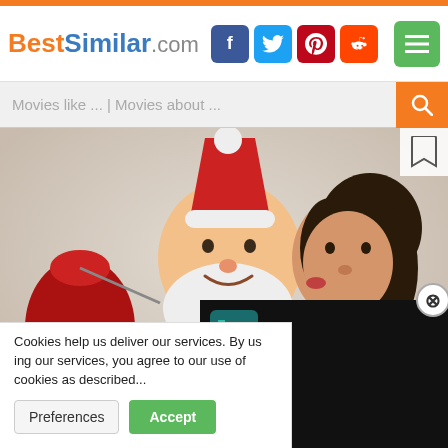BestSimilar.com
Movies like ... | Movies about ...
[Figure (photo): A man dressed in a Santa Claus costume carrying a red sack, smiling, with a woman leaning in to kiss his cheek. Holiday/Christmas themed promotional movie photo on a light background.]
Cookies help us deliver our services. By us... you agree to our use of cookies as describe...
Preferences
Accept